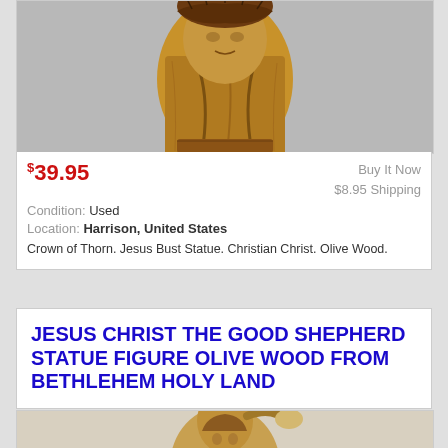[Figure (photo): Carved olive wood Jesus bust statue with crown of thorns, brown/tan wood tones on gray background]
$39.95   Buy It Now
$8.95 Shipping
Condition: Used
Location: Harrison, United States
Crown of Thorn. Jesus Bust Statue. Christian Christ. Olive Wood.
JESUS CHRIST THE GOOD SHEPHERD STATUE FIGURE OLIVE WOOD FROM BETHLEHEM HOLY LAND
[Figure (photo): Olive wood carved statue of Jesus Christ the Good Shepherd, figure holding lamb, tan/golden wood tones]